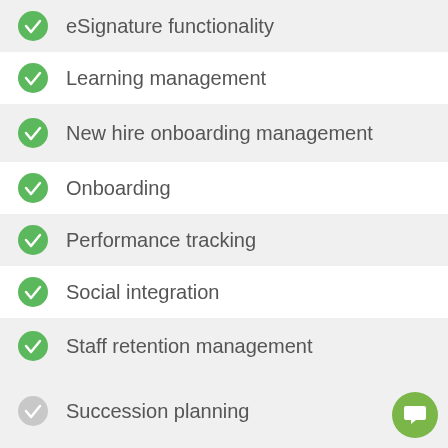eSignature functionality
Learning management
New hire onboarding management
Onboarding
Performance tracking
Social integration
Staff retention management
Succession planning